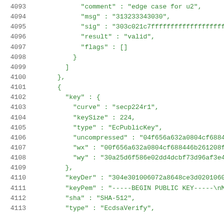4093  "comment" : "edge case for u2",
4094  "msg" : "313233343030",
4095  "sig" : "303c021c7fffffffffffffffffffffff
4096  "result" : "valid",
4097  "flags" : []
4098  }
4099  ]
4100  },
4101  {
4102  "key" : {
4103  "curve" : "secp224r1",
4104  "keySize" : 224,
4105  "type" : "EcPublicKey",
4106  "uncompressed" : "04f656a632a0804cf6884
4107  "wx" : "00f656a632a0804cf688446b261208f
4108  "wy" : "30a25d6f586e02dd4dcbf73d96af3e4
4109  },
4110  "keyDer" : "304e301006072a8648ce3d0201060
4111  "keyPem" : "-----BEGIN PUBLIC KEY-----\nM
4112  "sha" : "SHA-512",
4113  "type" : "EcdsaVerify",